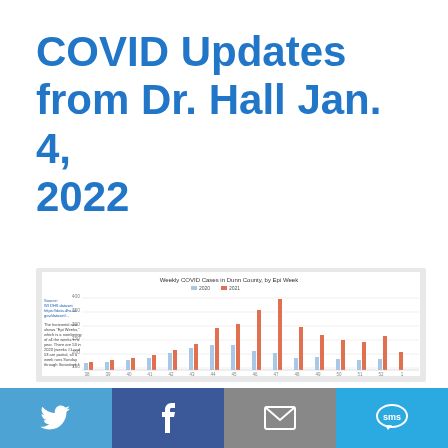COVID Updates from Dr. Hall Jan. 4, 2022
[Figure (grouped-bar-chart): Weekly COVID Cases in Dunn County, by Epi Week]
Twitter | Facebook | Email | SMS